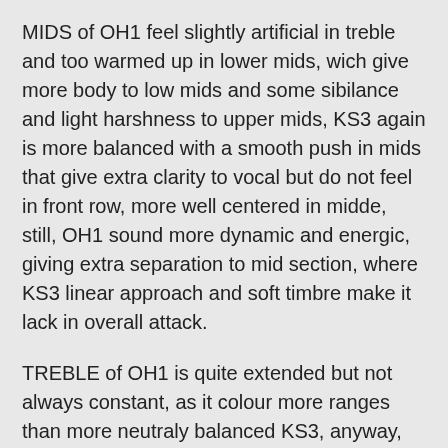MIDS of OH1 feel slightly artificial in treble and too warmed up in lower mids, wich give more body to low mids and some sibilance and light harshness to upper mids, KS3 again is more balanced with a smooth push in mids that give extra clarity to vocal but do not feel in front row, more well centered in midde, still, OH1 sound more dynamic and energic, giving extra separation to mid section, where KS3 linear approach and soft timbre make it lack in overall attack.
TREBLE of OH1 is quite extended but not always constant, as it colour more ranges than more neutraly balanced KS3, anyway, this give more sparkle and air, wich give more sens of space and layering, and decay and brillance...so, yes, KS3 lack some treble sharpness comapred to OH1.